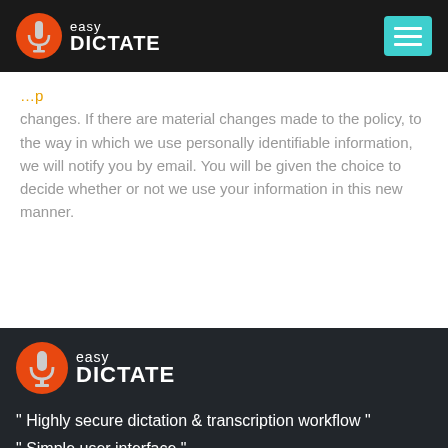easy DICTATE
changes. If there are material changes made to the policy, to the way in which we use personally identifiable information, we will notify you by email. You will be given the choice to decide whether or not we use your information in this new manner.
[Figure (logo): Easy Dictate logo with orange circle containing microphone icon and white text reading 'easy DICTATE']
" Highly secure dictation & transcription workflow "
" Simple user interface "